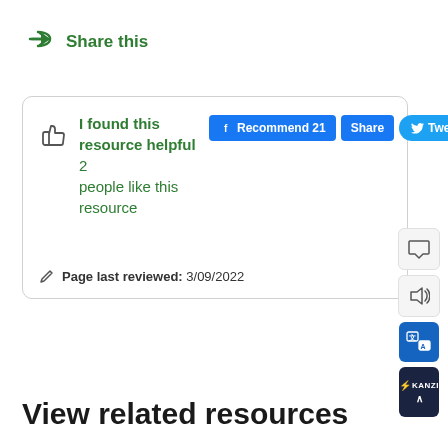Share this
[Figure (infographic): A card widget showing thumbs up icon with text 'I found this resource helpful 2 people like this resource', social sharing buttons (Facebook Recommend 21, Share, Tweet), a more options button, and page last reviewed date 3/09/2022. Sidebar tools including comment, audio, translate, and Kanzi accessibility buttons.]
View related resources